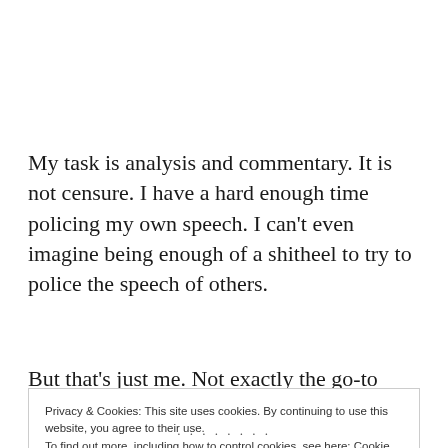My task is analysis and commentary. It is not censure. I have a hard enough time policing my own speech. I can't even imagine being enough of a shitheel to try to police the speech of others.
But that's just me. Not exactly the go-to dude for
Privacy & Cookies: This site uses cookies. By continuing to use this website, you agree to their use.
To find out more, including how to control cookies, see here: Cookie Policy
Close and accept